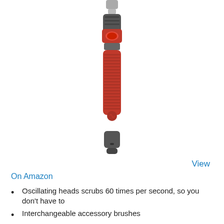[Figure (photo): A red and gray cordless electric scrubbing brush tool, shown vertically with the handle facing down and the brush attachment at top. The handle features a red rubberized grip with a textured pattern, a red oval power button, and a dark gray plastic housing with a charging port at the bottom.]
View
On Amazon
Oscillating heads scrubs 60 times per second, so you don't have to
Interchangeable accessory brushes